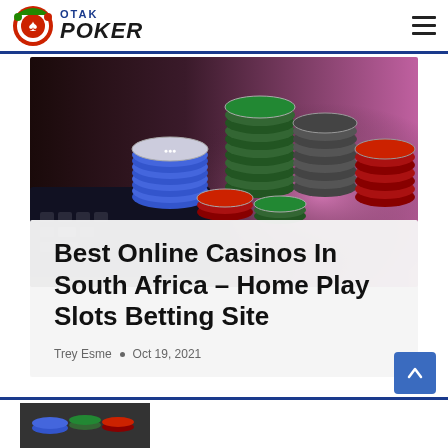OTAK POKER
[Figure (photo): Stacks of colorful casino chips (blue, green, red, grey) on a laptop keyboard with pink/purple bokeh background]
Best Online Casinos In South Africa – Home Play Slots Betting Site
Trey Esme • Oct 19, 2021
[Figure (photo): Partial casino chips image at bottom strip]